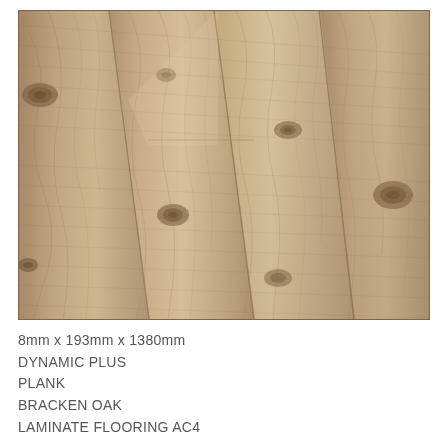[Figure (photo): Close-up photo of Bracken Oak laminate flooring planks showing wood grain texture with knots, in warm tan/beige tones arranged diagonally.]
8mm x 193mm x 1380mm
DYNAMIC PLUS
PLANK
BRACKEN OAK
LAMINATE FLOORING AC4